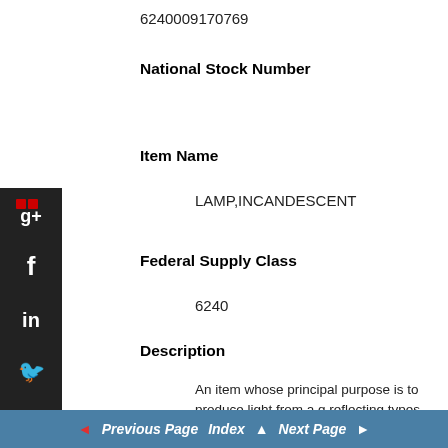6240009170769
National Stock Number
Item Name
LAMP,INCANDESCENT
Federal Supply Class
6240
Description
An item whose principal purpose is to produce light from a g reflecting types, seal beam and flood types. It may include a its illumination pattern.
Commercial and Government Entity Code (Supplier Data)
Previous Page  Index  Next Page